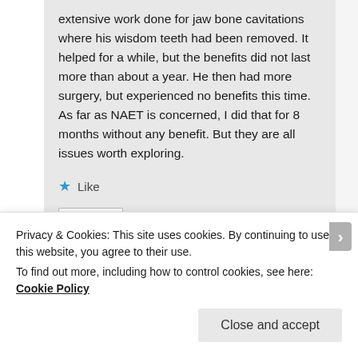extensive work done for jaw bone cavitations where his wisdom teeth had been removed. It helped for a while, but the benefits did not last more than about a year. He then had more surgery, but experienced no benefits this time. As far as NAET is concerned, I did that for 8 months without any benefit. But they are all issues worth exploring.
★ Like
Reply ↓
Privacy & Cookies: This site uses cookies. By continuing to use this website, you agree to their use.
To find out more, including how to control cookies, see here: Cookie Policy
Close and accept